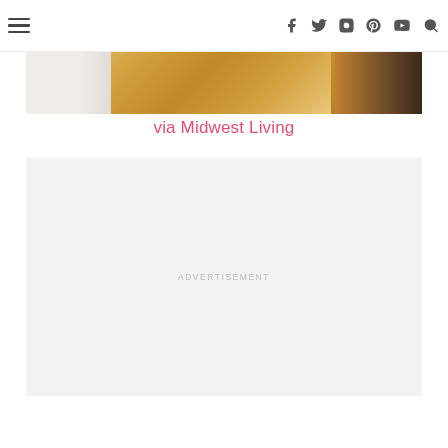☰ [social icons: facebook, twitter, instagram, pinterest, youtube, search]
[Figure (photo): Partial interior scene showing white door trim/baseboard on left and warm honey-toned hardwood flooring with a dark brown element on the right edge]
via Midwest Living
[Figure (other): Advertisement placeholder box with light gray background and 'ADVERTISEMENT' text]